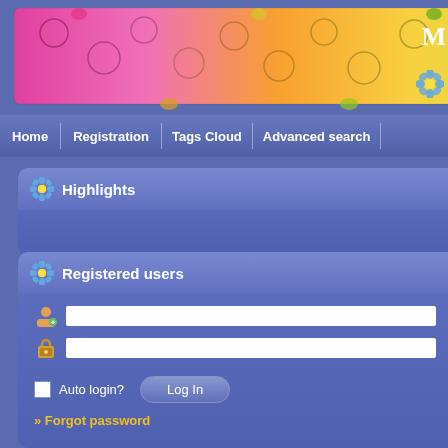[Figure (photo): Colorful jigsaw puzzle pieces header banner with gradient from pink/magenta on the left through orange, yellow-green to green on the right]
M
Home
Registration
Tags Cloud
Advanced search
Highlights
Registered users
[Figure (photo): Tiger lying in grass/straw]
[Figure (photo): Red tulip flowers]
Auto login?
Log In
» Forgot password
(Hits: 22050) Found: 77 puzzle(s) on 9